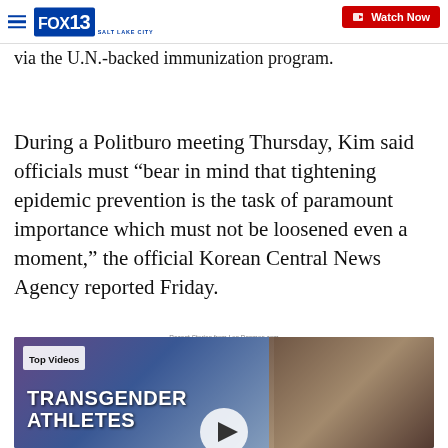FOX 13 SALT LAKE CITY | Watch Now
via the U.N.-backed immunization program.
During a Politburo meeting Thursday, Kim said officials must “bear in mind that tightening epidemic prevention is the task of paramount importance which must not be loosened even a moment,” the official Korean Central News Agency reported Friday.
Recent Stories from Los Desmos.com
[Figure (screenshot): Video thumbnail showing 'Top Videos' label with text 'TRANSGENDER ATHLETES' overlaid on a blurred background image. A female news anchor is visible on the right side. A play button is partially visible at the bottom center.]